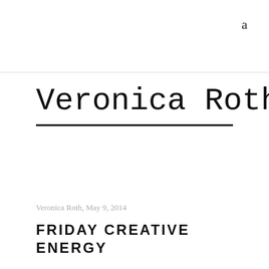a
Veronica Roth
Veronica Roth, May 9, 2014
FRIDAY CREATIVE ENERGY